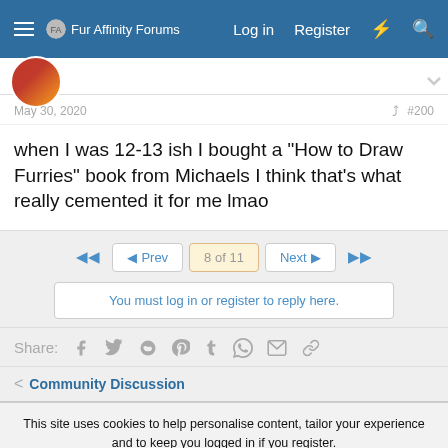Fur Affinity Forums  Log in  Register
May 30, 2020  #200
when I was 12-13 ish I bought a "How to Draw Furries" book from Michaels I think that's what really cemented it for me lmao
◄◄  ◄ Prev  8 of 11  Next ►  ►►
You must log in or register to reply here.
Share:
< Community Discussion
This site uses cookies to help personalise content, tailor your experience and to keep you logged in if you register.
By continuing to use this site, you are consenting to our use of cookies.
Accept  Learn more...